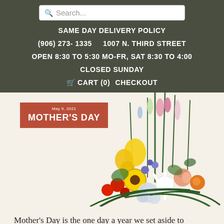Search...
SAME DAY DELIVERY POLICY
(906) 273-1335    1007 N. THIRD STREET
OPEN 8:30 TO 5:30 MO-FR, SAT 8:30 TO 4:00
CLOSED SUNDAY
CART (0)   CHECKOUT
[Figure (photo): Colorful flower bouquet arrangement with lilies, roses, sunflowers, snapdragons, hydrangeas, and greenery. A red banner overlay reads 'May 9, 2021 MOTHER'S DAY'.]
Mother's Day is the one day a year we set aside to acknowledge the immeasurable